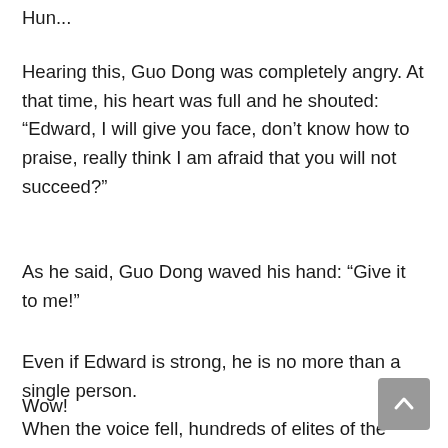Hun...
Hearing this, Guo Dong was completely angry. At that time, his heart was full and he shouted: “Edward, I will give you face, don’t know how to praise, really think I am afraid that you will not succeed?”
As he said, Guo Dong waved his hand: “Give it to me!”
Even if Edward is strong, he is no more than a single person.
Wow!
When the voice fell, hundreds of elites of the